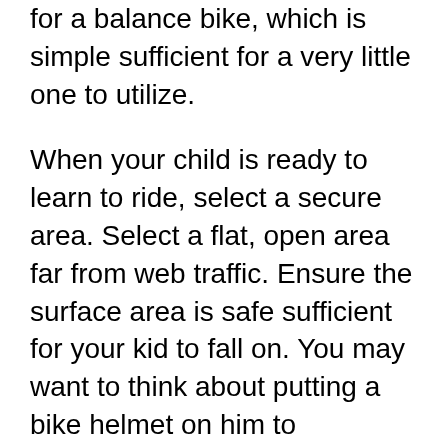for a balance bike, which is simple sufficient for a very little one to utilize.
When your child is ready to learn to ride, select a secure area. Select a flat, open area far from web traffic. Ensure the surface area is safe sufficient for your kid to fall on. You may want to think about putting a bike helmet on him to safeguard him from injuries. You will certainly also wish to instruct your kid just how to ride a bike securely as well as appropriately. The best means to do this is by adhering to these ideas:
An equilibrium bike is an excellent first bike for your youngster. Unlike extra-wheeled bikes, equilibrium bikes do not require